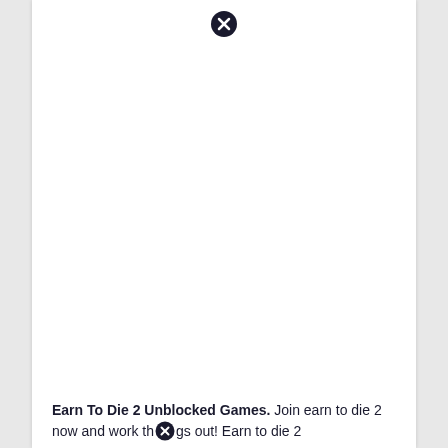[Figure (other): Close/dismiss button icon — black circle with white X, positioned near top center of page]
Earn To Die 2 Unblocked Games. Join earn to die 2 now and work things out! Earn to die 2